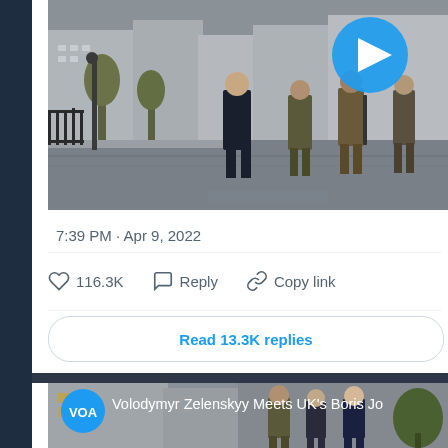[Figure (photo): Photo of Boris Johnson and Zelensky walking through Kyiv streets, with armed soldiers, wet pavement, ornate iron fencing and European-style buildings in background. Blue play button overlay in upper right corner.]
7:39 PM · Apr 9, 2022
116.3K  Reply  Copy link
Read 13.3K replies
[Figure (photo): VOA news video thumbnail showing Volodymyr Zelenskyy meeting with UK's Boris Johnson, two men greeting each other in front of buildings.]